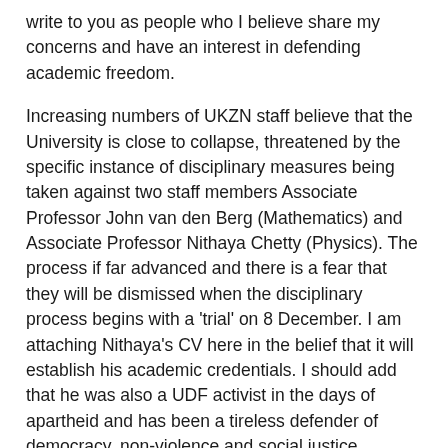write to you as people who I believe share my concerns and have an interest in defending academic freedom.
Increasing numbers of UKZN staff believe that the University is close to collapse, threatened by the specific instance of disciplinary measures being taken against two staff members Associate Professor John van den Berg (Mathematics) and Associate Professor Nithaya Chetty (Physics). The process if far advanced and there is a fear that they will be dismissed when the disciplinary process begins with a 'trial' on 8 December. I am attaching Nithaya's CV here in the belief that it will establish his academic credentials. I should add that he was also a UDF activist in the days of apartheid and has been a tireless defender of democracy, non-violence and social justice.
John van den Berg has fearlessly sought to represent his constituency's interests in University processes. Almost alone, he has challenged the rights of the Vice Chancellor to do as he pleases in Senate and is now suffering the consequences. Apart from the emotional distress they have endured, both have now paid substantial sums in an attempt